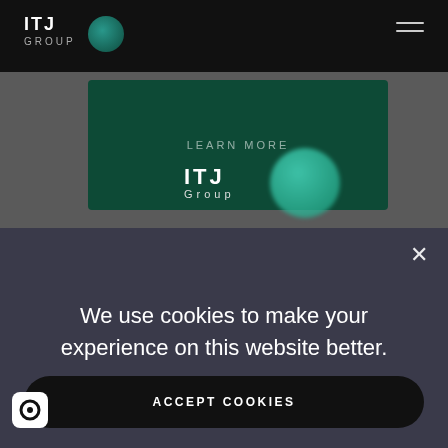[Figure (screenshot): Screenshot of ITJ Group website with dark navigation bar showing ITJ Group logo with teal circle, hamburger menu on right, dark green content card with 'LEARN MORE' text, ITJ Group logo below the card, all on a grey background]
[Figure (screenshot): Cookie consent banner with dark blue-grey background, X close button, cookie notice text, and black rounded Accept Cookies button]
We use cookies to make your experience on this website better.
ACCEPT COOKIES